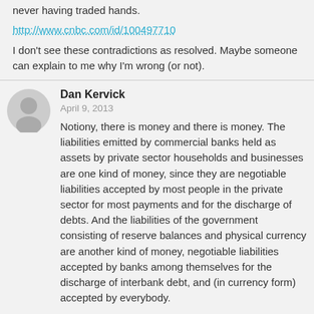never having traded hands.
http://www.cnbc.com/id/100497710
I don't see these contradictions as resolved. Maybe someone can explain to me why I'm wrong (or not).
Dan Kervick
April 9, 2013
Notiony, there is money and there is money. The liabilities emitted by commercial banks held as assets by private sector households and businesses are one kind of money, since they are negotiable liabilities accepted by most people in the private sector for most payments and for the discharge of debts. And the liabilities of the government consisting of reserve balances and physical currency are another kind of money, negotiable liabilities accepted by banks among themselves for the discharge of interbank debt, and (in currency form) accepted by everybody.
Commercial banks can emit more of their own liabilities without acquiring more government-issued liabilities first, although if they are not carrying sufficient reserves, they will have to acquire those government-issued liabilities soon afterward to be able to meet the additional interbank payment obligations that their